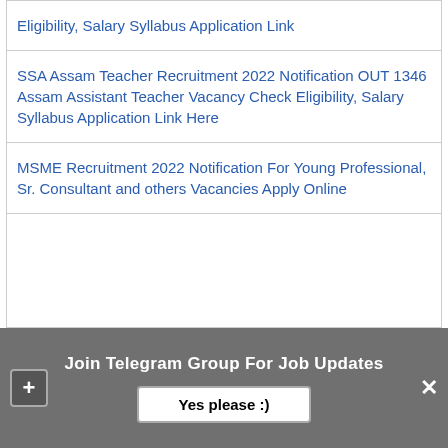Eligibility, Salary Syllabus Application Link
SSA Assam Teacher Recruitment 2022 Notification OUT 1346 Assam Assistant Teacher Vacancy Check Eligibility, Salary Syllabus Application Link Here
MSME Recruitment 2022 Notification For Young Professional, Sr. Consultant and others Vacancies Apply Online
Join Telegram Group For Job Updates
Yes please :)